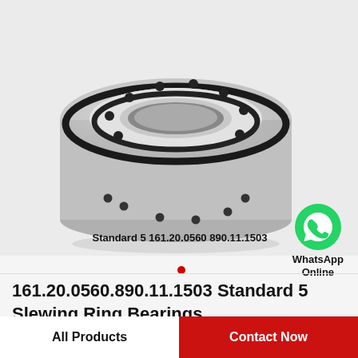[Figure (photo): Photograph of a slewing ring bearing (161.20.0560.890.11.1503 Standard 5), a circular metallic ring with bolt holes and a black rubber seal, viewed at a slight angle from above.]
Standard 5 161.20.0560.890.11.1503
[Figure (logo): WhatsApp green chat bubble icon with text 'WhatsApp Online' below it.]
161.20.0560.890.11.1503 Standard 5 Slewing Ring Bearings
All Products
Contact Now